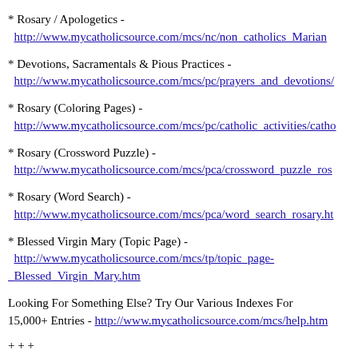* Rosary / Apologetics - http://www.mycatholicsource.com/mcs/nc/non_catholics__Marian
* Devotions, Sacramentals & Pious Practices - http://www.mycatholicsource.com/mcs/pc/prayers_and_devotions/
* Rosary (Coloring Pages) - http://www.mycatholicsource.com/mcs/pc/catholic_activities/catho
* Rosary (Crossword Puzzle) - http://www.mycatholicsource.com/mcs/pca/crossword_puzzle_ros
* Rosary (Word Search) - http://www.mycatholicsource.com/mcs/pca/word_search_rosary.ht
* Blessed Virgin Mary (Topic Page) - http://www.mycatholicsource.com/mcs/tp/topic_page-Blessed_Virgin_Mary.htm
Looking For Something Else? Try Our Various Indexes For 15,000+ Entries - http://www.mycatholicsource.com/mcs/help.htm
+ + +
"Never will anyone who says his Rosary every day be led astray.